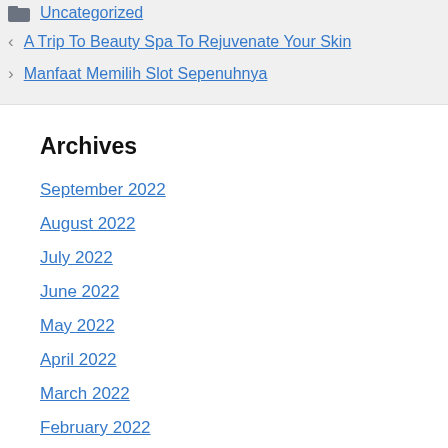Uncategorized
A Trip To Beauty Spa To Rejuvenate Your Skin
Manfaat Memilih Slot Sepenuhnya
Archives
September 2022
August 2022
July 2022
June 2022
May 2022
April 2022
March 2022
February 2022